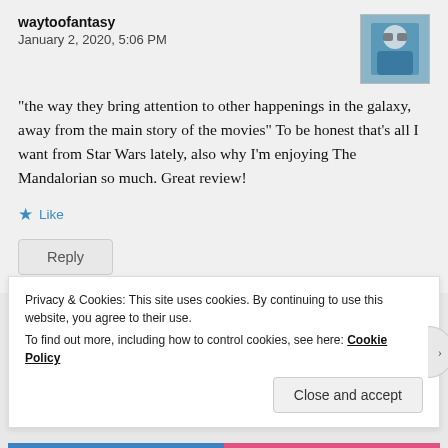waytoofantasy
January 2, 2020, 5:06 PM
[Figure (photo): User avatar photo showing a person wearing glasses and a blue shirt]
“the way they bring attention to other happenings in the galaxy, away from the main story of the movies” To be honest that’s all I want from Star Wars lately, also why I’m enjoying The Mandalorian so much. Great review!
★ Like
Reply
Privacy & Cookies: This site uses cookies. By continuing to use this website, you agree to their use.
To find out more, including how to control cookies, see here: Cookie Policy
Close and accept